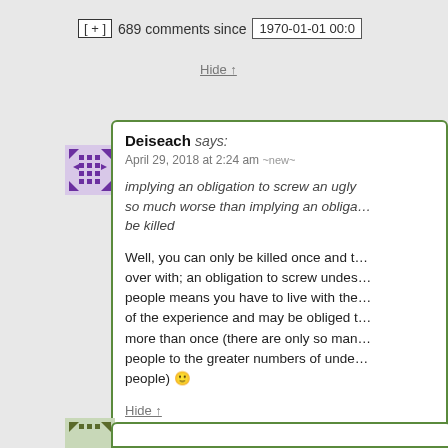[ + ] 689 comments since 1970-01-01 00:0
Hide ↑
Deiseach says: April 29, 2018 at 2:24 am ~new~
implying an obligation to screw an ugly person is so much worse than implying an obliga… be killed
Well, you can only be killed once and that's over with; an obligation to screw undesirable people means you have to live with the memory of the experience and may be obliged to do it more than once (there are only so many people to the greater numbers of unde… people) 🙂
Hide ↑